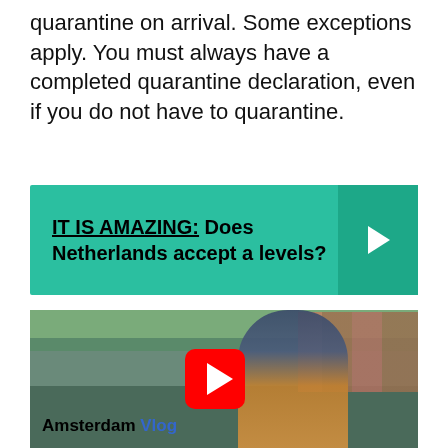Very high risk area are required to self-quarantine on arrival. Some exceptions apply. You must always have a completed quarantine declaration, even if you do not have to quarantine.
IT IS AMAZING: Does Netherlands accept a levels?
[Figure (screenshot): YouTube video thumbnail showing a man taking a selfie on an Amsterdam canal bridge with text 'Amsterdam Vlog' and a red YouTube play button overlay]